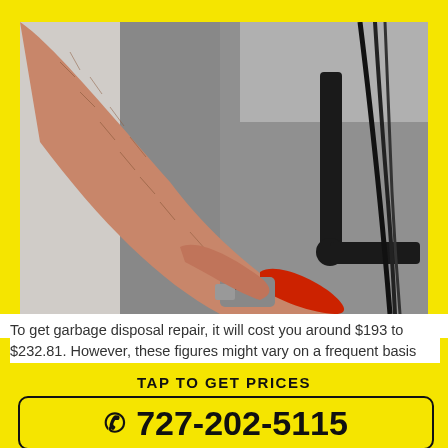[Figure (photo): Close-up photo of a plumber's arm using a red pipe wrench under a sink, with black pipes and cables visible in the background. Grayscale background with skin-toned arm in foreground.]
To get garbage disposal repair, it will cost you around $193 to $232.81. However, these figures might vary on a frequent basis
TAP TO GET PRICES
727-202-5115